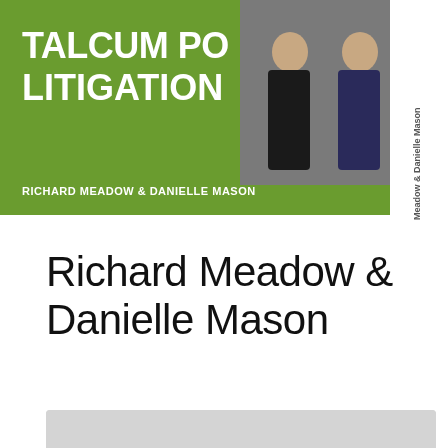[Figure (illustration): Talcum Powder Litigation podcast/video thumbnail. Green background with bold white text 'TALCUM POWDER LITIGATION', a red YouTube play button icon, two professionals (a woman and a man in suits) standing, text 'RICHARD MEADOW & DANIELLE MASON', and a vertical sidebar with 'Meadow & Danielle Mason' rotated text.]
Richard Meadow & Danielle Mason
[Figure (illustration): Gray placeholder box with a podcast microphone/signal icon in the center, representing an audio player or podcast embed.]